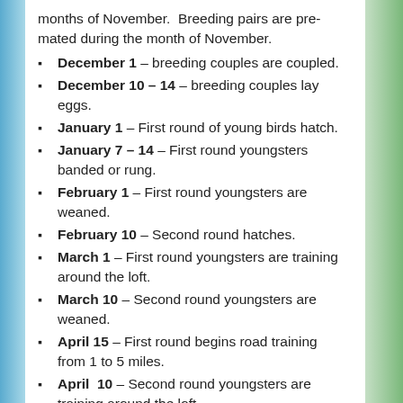months of November.  Breeding pairs are pre-mated during the month of November.
December 1 – breeding couples are coupled.
December 10 – 14 – breeding couples lay eggs.
January 1 – First round of young birds hatch.
January 7 – 14 – First round youngsters banded or rung.
February 1 – First round youngsters are weaned.
February 10 – Second round hatches.
March 1 – First round youngsters are training around the loft.
March 10 – Second round youngsters are weaned.
April 15 – First round begins road training from 1 to 5 miles.
April  10 – Second round youngsters are training around the loft.